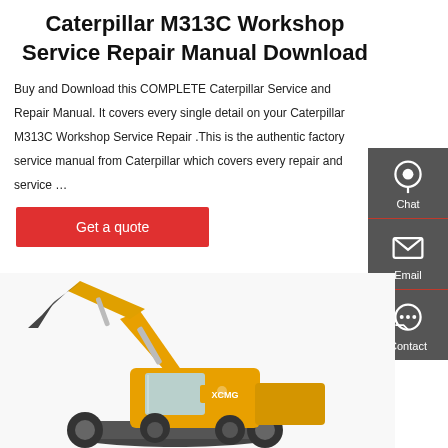Caterpillar M313C Workshop Service Repair Manual Download
Buy and Download this COMPLETE Caterpillar Service and Repair Manual. It covers every single detail on your Caterpillar M313C Workshop Service Repair .This is the authentic factory service manual from Caterpillar which covers every repair and service …
[Figure (other): Red 'Get a quote' button]
[Figure (photo): Yellow XCMG excavator / hydraulic wheel excavator photographed on white background]